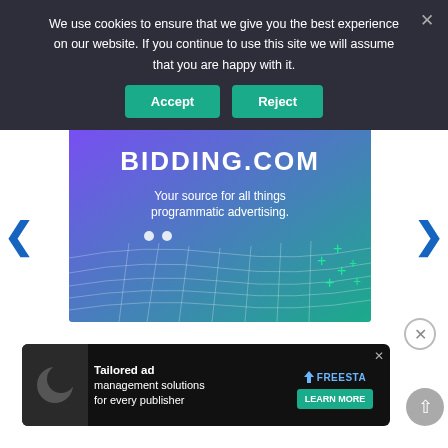We use cookies to ensure that we give you the best experience on our website. If you continue to use this site we will assume that you are happy with it.
[Figure (screenshot): Cookie consent banner with Accept and Reject buttons on dark background]
[Figure (illustration): BIDDING.COM advertisement banner with purple to teal gradient, subtitle 'Your source for all things programmatic advertising.' and wireframe grid decoration]
[Figure (screenshot): Bottom advertisement for Freestar: 'Tailored ad management solutions for every publisher' with Learn More button]
[Figure (other): Scroll-to-top circular button on right side]